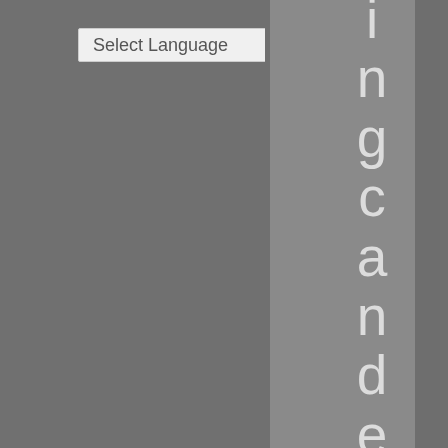[Figure (screenshot): A webpage UI element showing a 'Select Language' dropdown selector on a gray background. To the right is a lighter gray sidebar with vertically oriented text reading 'ingcandeliver po' with each letter stacked vertically.]